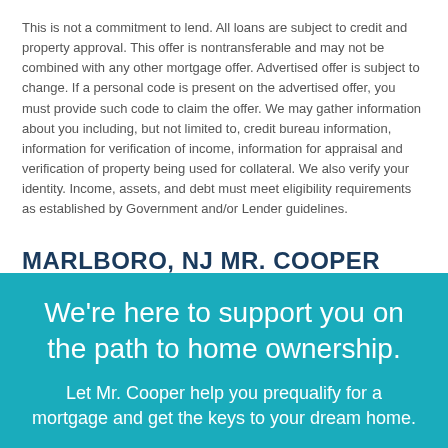This is not a commitment to lend. All loans are subject to credit and property approval. This offer is nontransferable and may not be combined with any other mortgage offer. Advertised offer is subject to change. If a personal code is present on the advertised offer, you must provide such code to claim the offer. We may gather information about you including, but not limited to, credit bureau information, information for verification of income, information for appraisal and verification of property being used for collateral. We also verify your identity. Income, assets, and debt must meet eligibility requirements as established by Government and/or Lender guidelines.
MARLBORO, NJ MR. COOPER REVIEWS
Read real stories from real Mr. Cooper home mortgage customers in Marlboro, NJ. Then contact us to see what we can do for you.
We're here to support you on the path to home ownership.
Let Mr. Cooper help you prequalify for a mortgage and get the keys to your dream home.